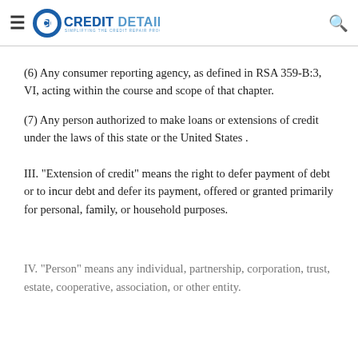CD Credit Detailer — Simplifying the Credit Repair Process
(6) Any consumer reporting agency, as defined in RSA 359-B:3, VI, acting within the course and scope of that chapter.
(7) Any person authorized to make loans or extensions of credit under the laws of this state or the United States .
III. "Extension of credit" means the right to defer payment of debt or to incur debt and defer its payment, offered or granted primarily for personal, family, or household purposes.
IV. "Person" means any individual, partnership, corporation, trust, estate, cooperative, association, or other entity.